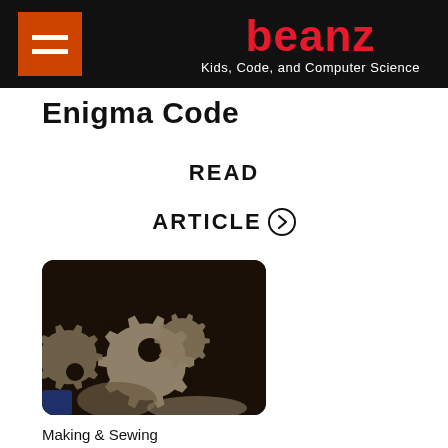beanz — Kids, Code, and Computer Science
Enigma Code
READ
ARTICLE
[Figure (photo): Close-up photo of metallic gear-shaped pieces, silver colored interlocking cogs on a dark background]
Making & Sewing
3D Printing...